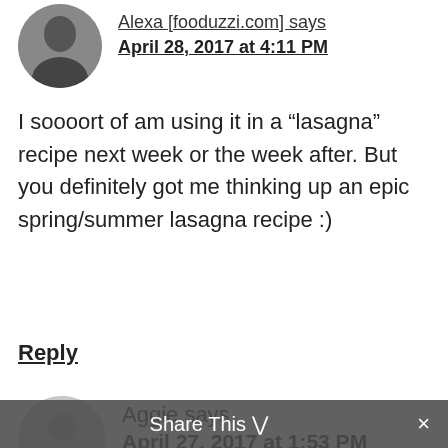Alexa [fooduzzi.com] says
April 28, 2017 at 4:11 PM
I soooort of am using it in a “lasagna” recipe next week or the week after. But you definitely got me thinking up an epic spring/summer lasagna recipe :)
Reply
Aggie says
April 27, 2017 at 1:53 PM
I’m really excited to try this recipe. I haven’t had lasagna in oh so many years because of the meat
Share This ∨  ×